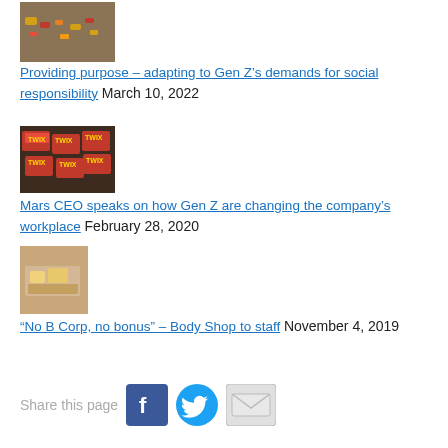[Figure (photo): Small candies or pills scattered on a wooden surface]
Providing purpose – adapting to Gen Z's demands for social responsibility March 10, 2022
[Figure (photo): Twix candy bars piled together]
Mars CEO speaks on how Gen Z are changing the company's workplace February 28, 2020
[Figure (photo): Food item on a surface, possibly a pastry or snack]
"No B Corp, no bonus" – Body Shop to staff November 4, 2019
Share this page